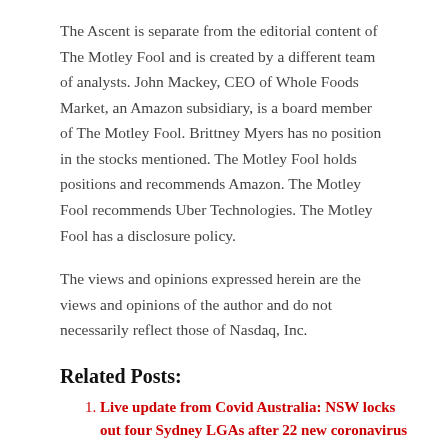The Ascent is separate from the editorial content of The Motley Fool and is created by a different team of analysts. John Mackey, CEO of Whole Foods Market, an Amazon subsidiary, is a board member of The Motley Fool. Brittney Myers has no position in the stocks mentioned. The Motley Fool holds positions and recommends Amazon. The Motley Fool recommends Uber Technologies. The Motley Fool has a disclosure policy.
The views and opinions expressed herein are the views and opinions of the author and do not necessarily reflect those of Nasdaq, Inc.
Related Posts:
Live update from Covid Australia: NSW locks out four Sydney LGAs after 22 new coronavirus cases; WADA chief calls for wider restrictions | Australia News
NJ people fooled by 'do me a favor' scam
The revocation of the federal gun restriction is...